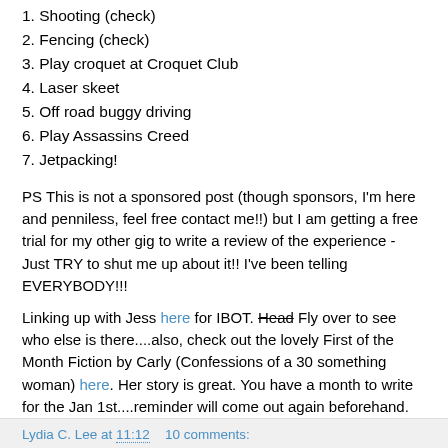1. Shooting (check)
2. Fencing (check)
3. Play croquet at Croquet Club
4. Laser skeet
5. Off road buggy driving
6. Play Assassins Creed
7. Jetpacking!
PS This is not a sponsored post (though sponsors, I'm here and penniless, feel free contact me!!) but I am getting a free trial for my other gig to write a review of the experience - Just TRY to shut me up about it!! I've been telling EVERYBODY!!!
Linking up with Jess here for IBOT. Head Fly over to see who else is there....also, check out the lovely First of the Month Fiction by Carly (Confessions of a 30 something woman) here. Her story is great. You have a month to write for the Jan 1st....reminder will come out again beforehand.
Lydia C. Lee at 11:12    10 comments: